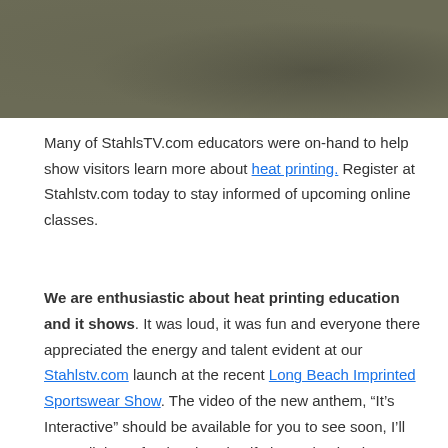[Figure (photo): Dark textured background photo, cropped at top of page]
Many of StahlsTV.com educators were on-hand to help show visitors learn more about heat printing. Register at Stahlstv.com today to stay informed of upcoming online classes.
We are enthusiastic about heat printing education and it shows. It was loud, it was fun and everyone there appreciated the energy and talent evident at our Stahlstv.com launch at the recent Long Beach Imprinted Sportswear Show. The video of the new anthem, “It’s Interactive” should be available for you to see soon, I’ll post a link. As for the show itself, it was busier than ever, with show management sharing that pre-show registration and attendance was higher than